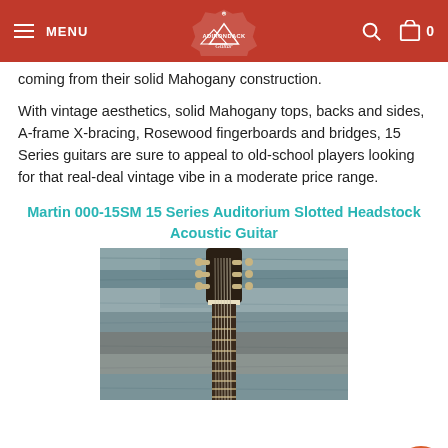MENU | Adirondack Guitar | Search | Cart 0
coming from their solid Mahogany construction.
With vintage aesthetics, solid Mahogany tops, backs and sides, A-frame X-bracing, Rosewood fingerboards and bridges, 15 Series guitars are sure to appeal to old-school players looking for that real-deal vintage vibe in a moderate price range.
Martin 000-15SM 15 Series Auditorium Slotted Headstock Acoustic Guitar
[Figure (photo): Photo of Martin guitar headstock and neck against a weathered blue/grey wood plank background]